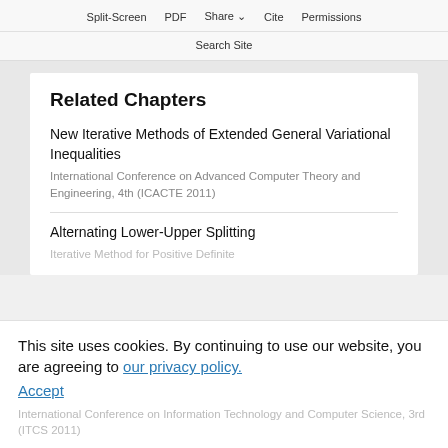Split-Screen  PDF  Share  Cite  Permissions
Search Site
Related Chapters
New Iterative Methods of Extended General Variational Inequalities
International Conference on Advanced Computer Theory and Engineering, 4th (ICACTE 2011)
Alternating Lower-Upper Splitting Iterative Method for Positive Definite
International Conference on Information Technology and Computer Science, 3rd (ITCS 2011)
This site uses cookies. By continuing to use our website, you are agreeing to our privacy policy. Accept